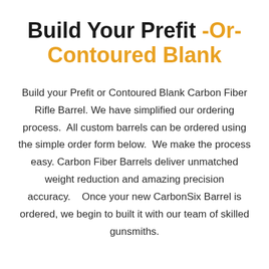Build Your Prefit -Or- Contoured Blank
Build your Prefit or Contoured Blank Carbon Fiber Rifle Barrel. We have simplified our ordering process.  All custom barrels can be ordered using the simple order form below.  We make the process easy. Carbon Fiber Barrels deliver unmatched weight reduction and amazing precision accuracy.   Once your new CarbonSix Barrel is ordered, we begin to built it with our team of skilled gunsmiths.